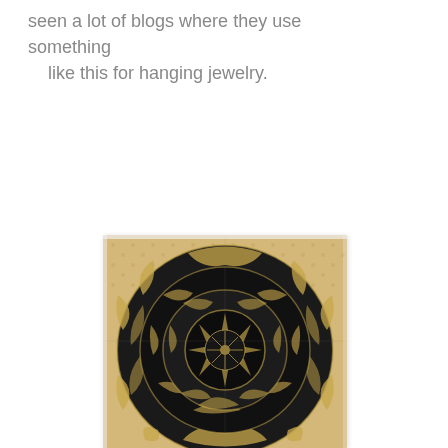seen a lot of blogs where they use something like this for hanging jewelry.
[Figure (photo): A decorative black and gold ornate plate or medallion with intricate floral and scroll patterns, concentric circular design with detailed medallion center, displayed against a pegboard background.]